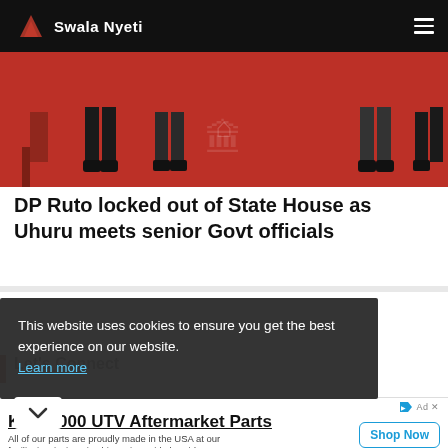Swala Nyeti
[Figure (photo): Red carpet event scene showing legs and feet of people standing, with a red background and faint logo watermark]
DP Ruto locked out of State House as Uhuru meets senior Govt officials
This website uses cookies to ensure you get the best experience on our website. Learn more
Let's Connect
KRX 1000 UTV Aftermarket Parts
All of our parts are proudly made in the USA at our facility in Cincinnati, Ohio. Axiom Side by Side
Shop Now